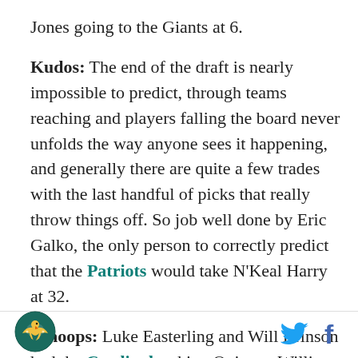Jones going to the Giants at 6.
Kudos: The end of the draft is nearly impossible to predict, through teams reaching and players falling the board never unfolds the way anyone sees it happening, and generally there are quite a few trades with the last handful of picks that really throw things off. So job well done by Eric Galko, the only person to correctly predict that the Patriots would take N'Keal Harry at 32.
Whoops: Luke Easterling and Will Brinson had the Cardinals taking Quinnen Williams first overall, Doug Farrar had the Raiders trading up to take Kyler Murray there
[Figure (logo): SB Nation eagle logo in teal/green circular badge]
[Figure (other): Twitter bird icon and Facebook f icon in footer]